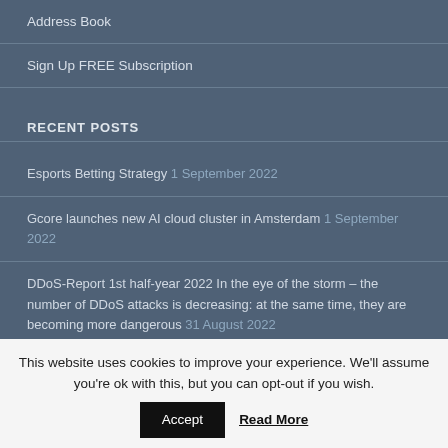Address Book
Sign Up FREE Subscription
RECENT POSTS
Esports Betting Strategy  1 September 2022
Gcore launches new AI cloud cluster in Amsterdam  1 September 2022
DDoS-Report 1st half-year 2022 In the eye of the storm – the number of DDoS attacks is decreasing: at the same time, they are becoming more dangerous  31 August 2022
This website uses cookies to improve your experience. We'll assume you're ok with this, but you can opt-out if you wish. Accept  Read More